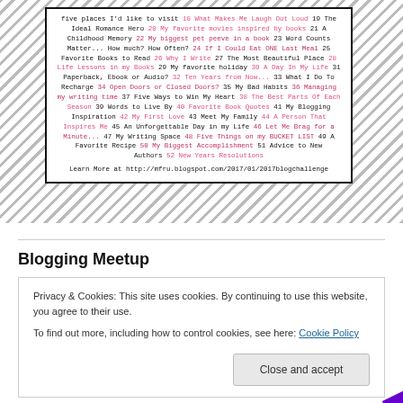[Figure (other): Bordered white box on hatched diagonal background containing a numbered blog challenge topic list with pink and dark pink hyperlink-style text, ending with a URL.]
Blogging Meetup
Privacy & Cookies: This site uses cookies. By continuing to use this website, you agree to their use. To find out more, including how to control cookies, see here: Cookie Policy
[Figure (other): Partial colorful circular logos/badges visible at bottom of page in magenta, gray, and green/purple colors.]